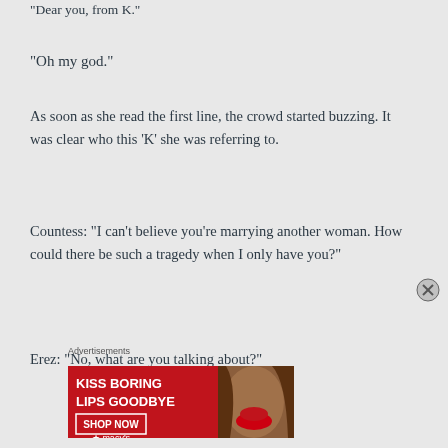“Dear you, from K”
“Oh my god.”
As soon as she read the first line, the crowd started buzzing. It was clear who this ‘K’ she was referring to.
Countess: “I can’t believe you’re marrying another woman. How could there be such a tragedy when I only have you?”
Erez: “No, what are you talking about?”
Advertisements
[Figure (other): Macy's advertisement banner: KISS BORING LIPS GOODBYE with SHOP NOW button and Macy's star logo on red background with woman's face]